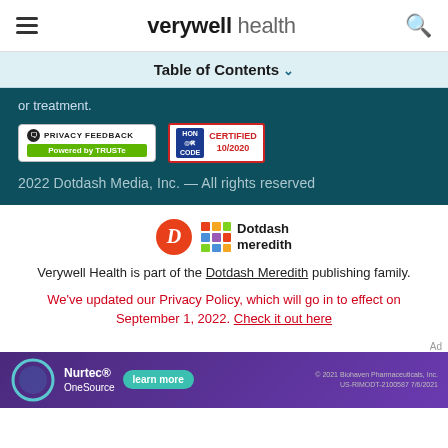verywell health
Table of Contents
or treatment.
[Figure (logo): Privacy Feedback / Powered by TRUSTe badge]
[Figure (logo): HON CODE CERTIFIED 10/2020 badge]
2022 Dotdash Media, Inc. — All rights reserved
[Figure (logo): Dotdash Meredith logo]
Verywell Health is part of the Dotdash Meredith publishing family.
We've updated our Privacy Policy, which will go in to effect on September 1, 2022. Check it out here
Ad
[Figure (illustration): Nurtec OneSource advertisement banner with learn more button, © 2021 Biohaven Pharmaceuticals, Inc. US-RIMODT-2100587 7/6/2021]